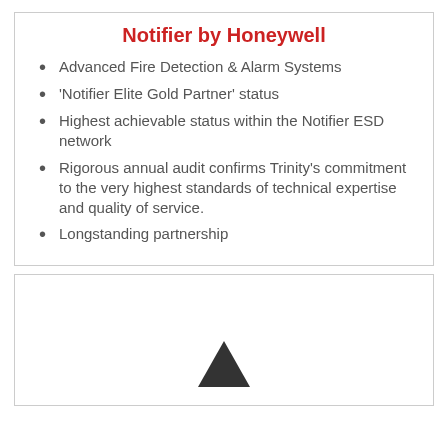Notifier by Honeywell
Advanced Fire Detection & Alarm Systems
'Notifier Elite Gold Partner' status
Highest achievable status within the Notifier ESD network
Rigorous annual audit confirms Trinity's commitment to the very highest standards of technical expertise and quality of service.
Longstanding partnership
[Figure (illustration): A partially visible box containing an upward-pointing arrow/chevron shape at the bottom center of a white rectangle with a border.]